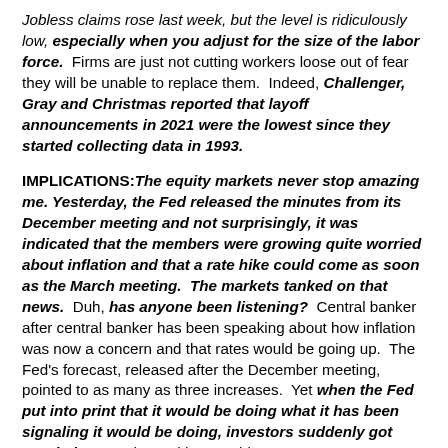Jobless claims rose last week, but the level is ridiculously low, especially when you adjust for the size of the labor force. Firms are just not cutting workers loose out of fear they will be unable to replace them. Indeed, Challenger, Gray and Christmas reported that layoff announcements in 2021 were the lowest since they started collecting data in 1993.
IMPLICATIONS: The equity markets never stop amazing me. Yesterday, the Fed released the minutes from its December meeting and not surprisingly, it was indicated that the members were growing quite worried about inflation and that a rate hike could come as soon as the March meeting. The markets tanked on that news. Duh, has anyone been listening? Central banker after central banker has been speaking about how inflation was now a concern and that rates would be going up. The Fed's forecast, released after the December meeting, pointed to as many as three increases. Yet when the Fed put into print that it would be doing what it has been signaling it would be doing, investors suddenly got worried. Does the Fed have to hit